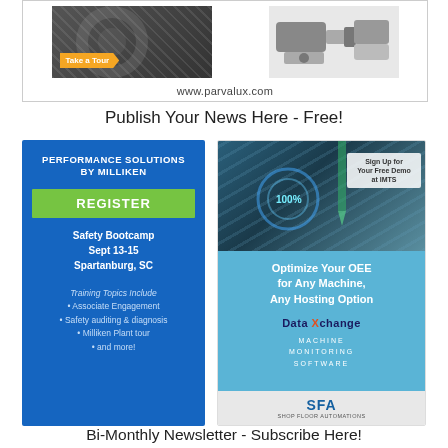[Figure (advertisement): Parvalux ad with gear/CNC machinery image on left, motors/gearboxes on right, orange Take a Tour button, URL www.parvalux.com]
Publish Your News Here - Free!
[Figure (advertisement): Performance Solutions by Milliken blue ad. REGISTER button. Safety Bootcamp Sept 13-15 Spartanburg, SC. Training Topics Include: Associate Engagement, Safety auditing & diagnosis, Milliken Plant tour, and more!]
[Figure (advertisement): DataXchange Machine Monitoring Software ad. Sign Up for Your Free Demo at IMTS. Optimize Your OEE for Any Machine, Any Hosting Option. SFA Shop Floor Automations logo at bottom.]
Bi-Monthly Newsletter - Subscribe Here!